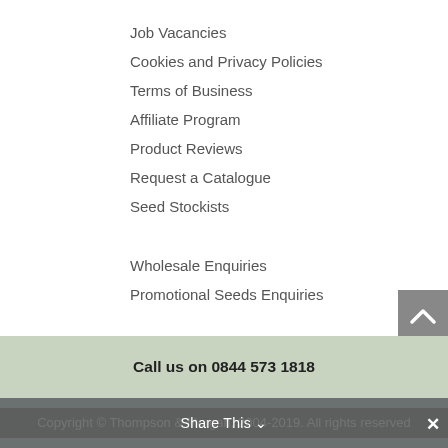Job Vacancies
Cookies and Privacy Policies
Terms of Business
Affiliate Program
Product Reviews
Request a Catalogue
Seed Stockists
Wholesale Enquiries
Promotional Seeds Enquiries
Call us on 0844 573 1818
Copyright © Thompson & Morgan, 2004-2019. All rights reserved
Share This